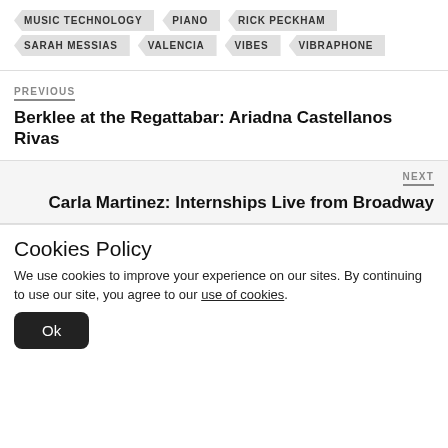MUSIC TECHNOLOGY
PIANO
RICK PECKHAM
SARAH MESSIAS
VALENCIA
VIBES
VIBRAPHONE
PREVIOUS
Berklee at the Regattabar: Ariadna Castellanos Rivas
NEXT
Carla Martinez: Internships Live from Broadway
Cookies Policy
We use cookies to improve your experience on our sites. By continuing to use our site, you agree to our use of cookies.
Ok